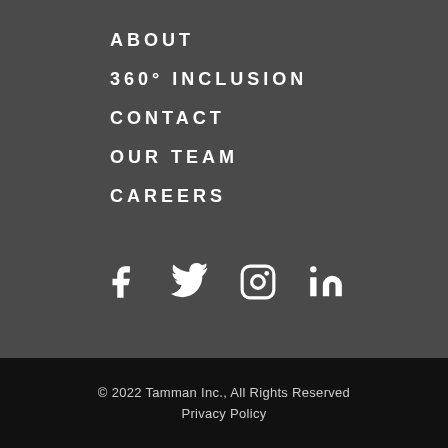ABOUT
360° INCLUSION
CONTACT
OUR TEAM
CAREERS
[Figure (infographic): Social media icons: Facebook, Twitter, Instagram, LinkedIn]
© 2022 Tamman Inc., All Rights Reserved
Privacy Policy